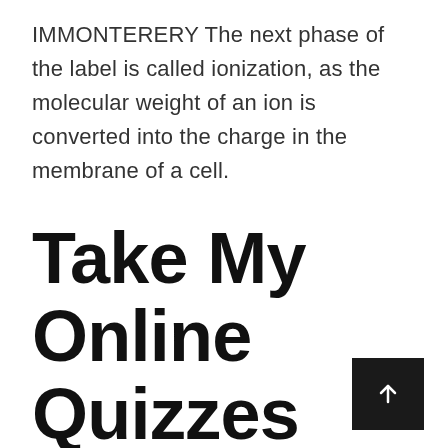IMMONTERERY The next phase of the label is called ionization, as the molecular weight of an ion is converted into the charge in the membrane of a cell.
Take My Online Quizzes For Me